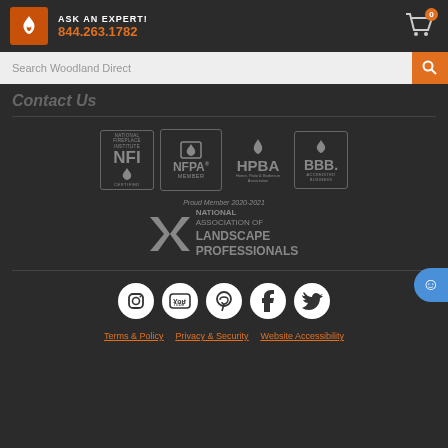ASK AN EXPERT! 844.263.1782
Search Woodland Direct
Contact Us
[Figure (logo): Certification and membership logos: NFI Certified, NFPA Member, HPBA, BBB Accredited Business, National Association of Landscape Professionals Proud Member 2020-2021]
[Figure (infographic): Social media icons: Instagram, YouTube, Pinterest, Facebook, Twitter]
Terms & Policy   Privacy & Security   Website Accessibility